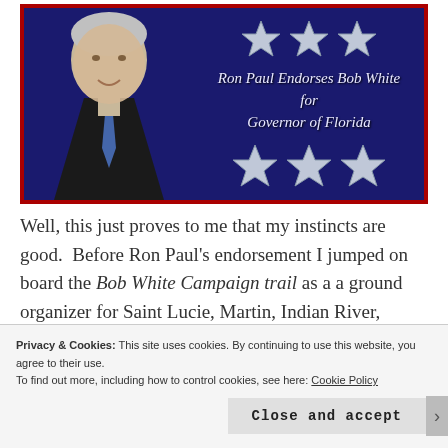[Figure (photo): Campaign endorsement image with dark blue background and red border. Shows a man (Ron Paul) on the left side with silver stars above and below text that reads 'Ron Paul Endorses Bob White for Governor of Florida']
Well, this just proves to me that my instincts are good.  Before Ron Paul's endorsement I jumped on board the Bob White Campaign trail as a a ground organizer for Saint Lucie, Martin, Indian River, Volusia and Brevard Counties.  We're looking for
Privacy & Cookies: This site uses cookies. By continuing to use this website, you agree to their use.
To find out more, including how to control cookies, see here: Cookie Policy
Close and accept